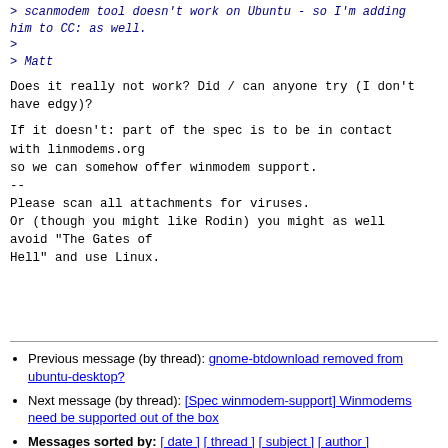> scanmodem tool doesn't work on Ubuntu - so I'm adding him to CC: as well.
>
> Matt
Does it really not work? Did / can anyone try (I don't have edgy)?
If it doesn't: part of the spec is to be in contact with linmodems.org
so we can somehow offer winmodem support.
--
Please scan all attachments for viruses.
Or (though you might like Rodin) you might as well avoid "The Gates of
Hell" and use Linux.
Previous message (by thread): gnome-btdownload removed from ubuntu-desktop?
Next message (by thread): [Spec winmodem-support] Winmodems need be supported out of the box
Messages sorted by: [ date ] [ thread ] [ subject ] [ author ]
More information about the Ubuntu-devel-discuss mailing list